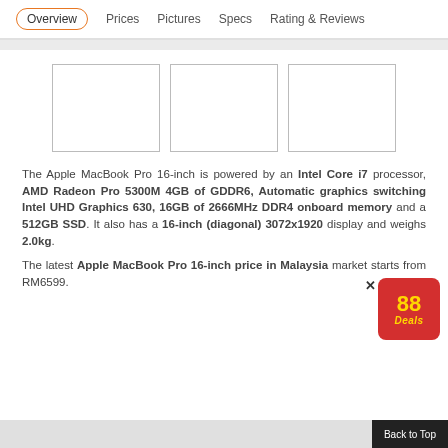Overview | Prices | Pictures | Specs | Rating & Reviews
[Figure (photo): Three empty image placeholder boxes for Apple MacBook Pro 16-inch product images]
The Apple MacBook Pro 16-inch is powered by an Intel Core i7 processor, AMD Radeon Pro 5300M 4GB of GDDR6, Automatic graphics switching Intel UHD Graphics 630, 16GB of 2666MHz DDR4 onboard memory and a 512GB SSD. It also has a 16-inch (diagonal) 3072x1920 display and weighs 2.0kg.
The latest Apple MacBook Pro 16-inch price in Malaysia market starts from RM6599.
Back to Top